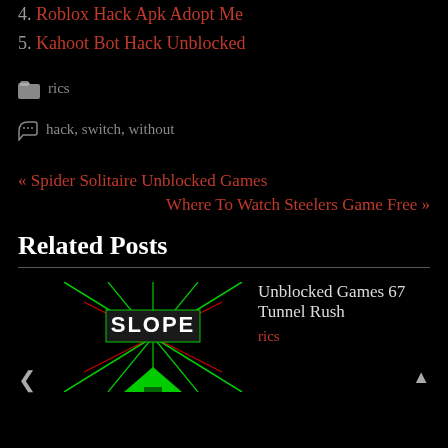4. Roblox Hack Apk Adopt Me
5. Kahoot Bot Hack Unblocked
rics
hack, switch, without
« Spider Solitaire Unblocked Games
Where To Watch Steelers Game Free »
Related Posts
[Figure (photo): Slope game thumbnail showing SLOPE text with green and red laser-like lines on black background]
Unblocked Games 67 Tunnel Rush
rics